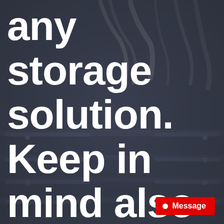[Figure (photo): Grayscale/dark blue-tinted photograph of server rack with bundled cables and network equipment in the background]
any storage solution. Keep in mind also that if you are using
Message